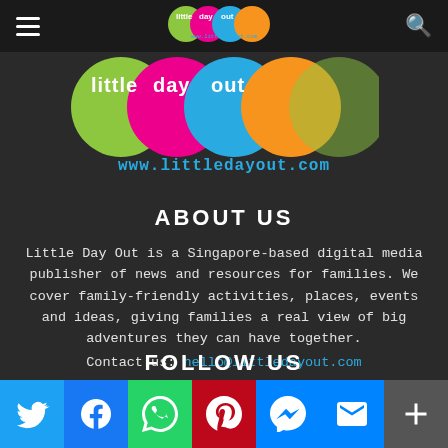Little Day Out — www.littledayout.com
[Figure (logo): Little Day Out logo with colorful circles and www.littledayout.com URL beneath]
ABOUT US
Little Day Out is a Singapore-based digital media publisher of news and resources for families. We cover family-friendly activities, places, events and ideas, giving families a real view of big adventures they can have together.
Contact us: hello@littledayout.com
FOLLOW US
[Figure (infographic): Social media share buttons: Twitter, Facebook, WhatsApp, Pinterest, Messenger, Email, More]